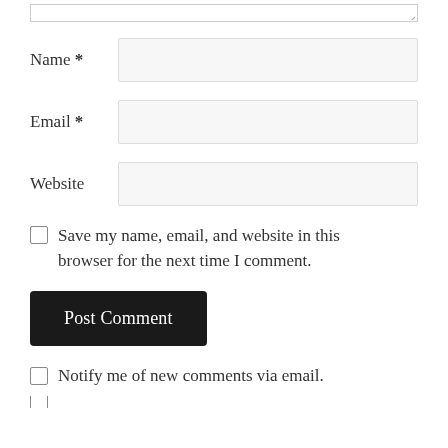[Figure (screenshot): Top edge of a textarea form field with resize handle visible at bottom right corner]
Name *
[Figure (screenshot): Text input field for Name]
Email *
[Figure (screenshot): Text input field for Email]
Website
[Figure (screenshot): Text input field for Website]
Save my name, email, and website in this browser for the next time I comment.
Post Comment
Notify me of new comments via email.